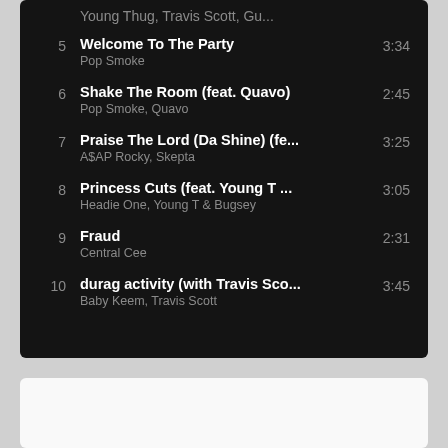Young Thug, Travis Scott, Gu...
5  Welcome To The Party  3:34  Pop Smoke
6  Shake The Room (feat. Quavo)  2:45  Pop Smoke, Quavo
7  Praise The Lord (Da Shine) (fe...  3:25  A$AP Rocky, Skepta
8  Princess Cuts (feat. Young T ...  3:05  Headie One, Young T & Bugsey
9  Fraud  2:31  Central Cee
10  durag activity (with Travis Sco...  3:45  Baby Keem, Travis Scott